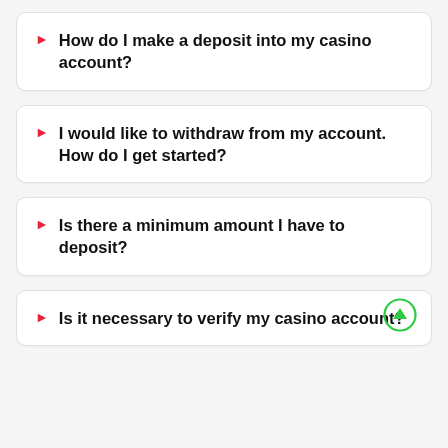How do I make a deposit into my casino account?
I would like to withdraw from my account. How do I get started?
Is there a minimum amount I have to deposit?
Is it necessary to verify my casino account?